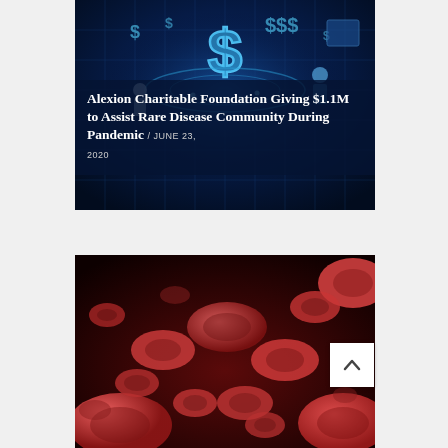[Figure (photo): Digital blue technology background with dollar signs and circular holographic elements representing financial/charity concept]
Alexion Charitable Foundation Giving $1.1M to Assist Rare Disease Community During Pandemic / JUNE 23, 2020
[Figure (photo): Close-up macro photograph of red blood cells (erythrocytes) floating in dark red background, medical/scientific illustration]